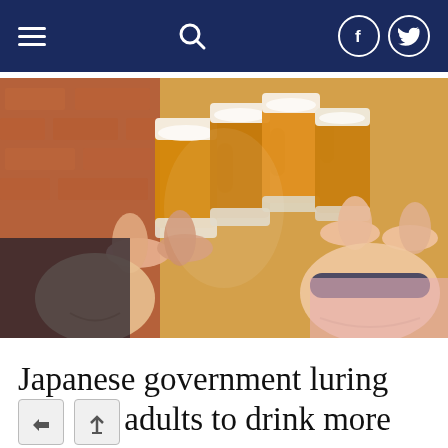Navigation bar with hamburger menu, search icon, Facebook and Twitter icons
[Figure (photo): People clinking beer mugs together in a toast, with amber beer visible in the glass mugs. Faces are partially obscured. One person on the right is wearing a sleep mask/blindfold.]
Japanese government luring young adults to drink more alcohol